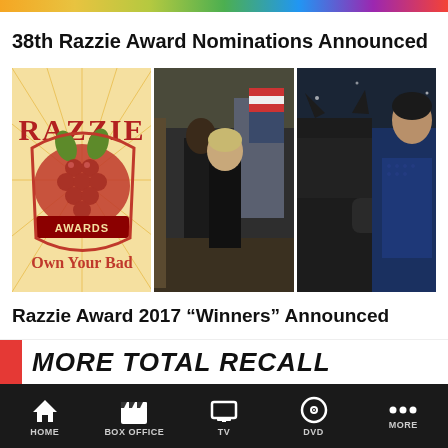38th Razzie Award Nominations Announced
[Figure (photo): Three images side by side: Razzie Awards logo with 'Own Your Bad' text, a dark office scene with figures walking, and Batman vs Superman movie still]
Razzie Award 2017 “Winners” Announced
More Related News
MORE TOTAL RECALL
HOME | BOX OFFICE | TV | DVD | MORE